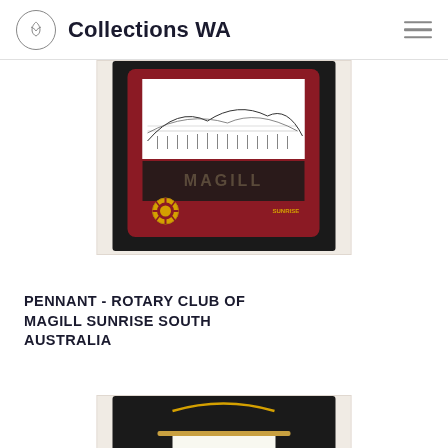Collections WA
[Figure (photo): Photograph of a dark red/maroon Rotary Club pennant from Magill Sunrise South Australia, featuring embroidered design with a Rotary wheel logo and a black and white landscape image on a dark background.]
PENNANT - ROTARY CLUB OF MAGILL SUNRISE SOUTH AUSTRALIA
[Figure (photo): Photograph of a white pennant hanging from a gold/yellow metal bar with a gold cord, reading 'Plante Sementes do Amor' with a Rotary wheel logo, displayed on a black background.]